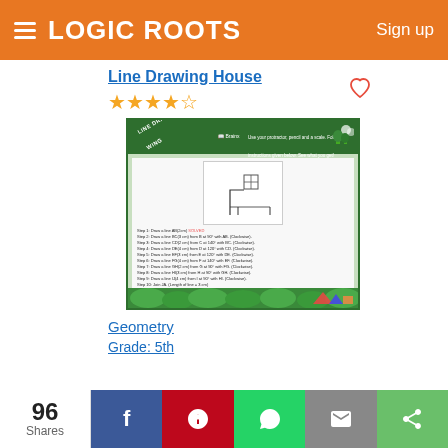Logic Roots — Sign up
Line Drawing House
[Figure (illustration): Worksheet preview image showing a Line Drawing activity with green border, worksheet title, step-by-step instructions for drawing a house using geometric lines, and a partial house drawing.]
Geometry
Grade: 5th
96 Shares — Facebook, Pinterest, WhatsApp, Mail, Share buttons